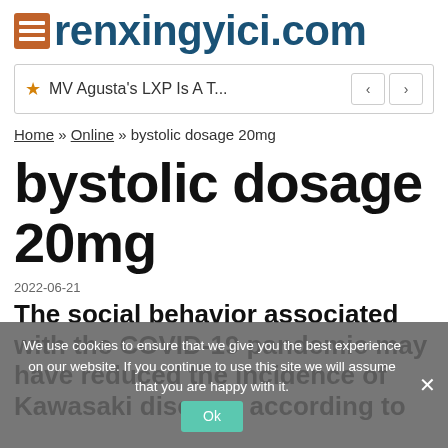renxingyici.com
MV Agusta's LXP Is A T...
Home » Online » bystolic dosage 20mg
bystolic dosage 20mg
2022-06-21
The social behavior associated with the COVID-19 pandemic may have reduced the incidence of Kawasaki disease, according to
We use cookies to ensure that we give you the best experience on our website. If you continue to use this site we will assume that you are happy with it.